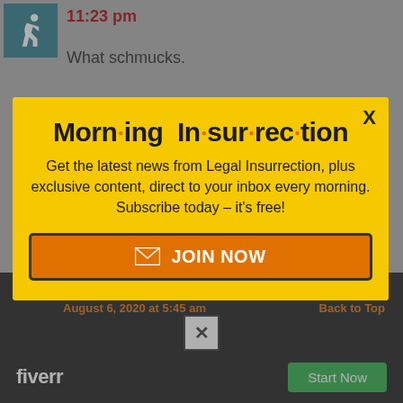[Figure (screenshot): Screenshot of a webpage with a teal accessibility icon, timestamp 11:23 pm in red, comment text 'What schmucks.', and a yellow modal popup for Morning Insurrection newsletter subscription with a JOIN NOW button, plus a Fiverr ad bar at the bottom.]
11:23 pm
What schmucks.
Morn·ing In·sur·rec·tion
Get the latest news from Legal Insurrection, plus exclusive content, direct to your inbox every morning. Subscribe today – it's free!
JOIN NOW
August 6, 2020 at 5:45 am
Back to Top
fiverr
Start Now